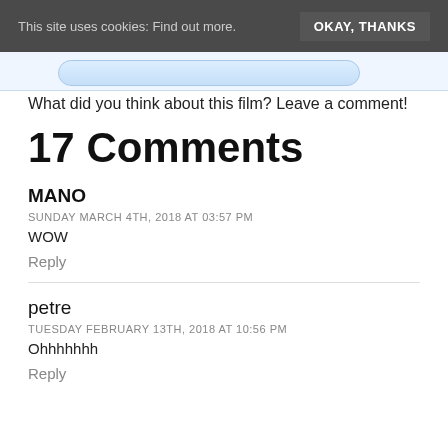This site uses cookies: Find out more.  OKAY, THANKS
[Figure (screenshot): Partial view of a rounded speech bubble or input field with light blue background]
What did you think about this film? Leave a comment!
17 Comments
MANO
SUNDAY MARCH 4TH, 2018 AT 03:57 PM
WOW
Reply
petre
TUESDAY FEBRUARY 13TH, 2018 AT 10:56 PM
Ohhhhhhh
Reply